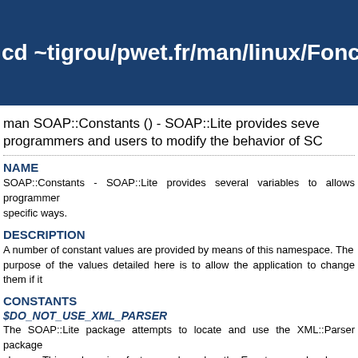cd ~tigrou/pwet.fr/man/linux/Fonctions bibli
man SOAP::Constants () - SOAP::Lite provides seve programmers and users to modify the behavior of SO
NAME
SOAP::Constants - SOAP::Lite provides several variables to allows programmer specific ways.
DESCRIPTION
A number of constant values are provided by means of this namespace. The purpose of the values detailed here is to allow the application to change them if it
CONSTANTS
$DO_NOT_USE_XML_PARSER
The SOAP::Lite package attempts to locate and use the XML::Parser package chance. This package is a fast parser based on the Expat parser develo